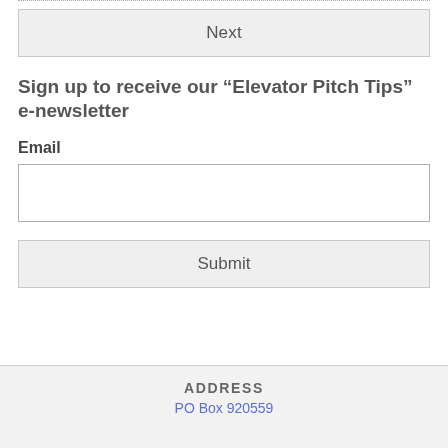Next
Sign up to receive our “Elevator Pitch Tips” e-newsletter
Email
Submit
ADDRESS
PO Box 920559